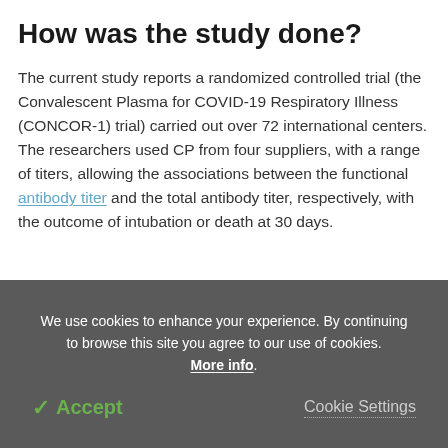How was the study done?
The current study reports a randomized controlled trial (the Convalescent Plasma for COVID-19 Respiratory Illness (CONCOR-1) trial) carried out over 72 international centers. The researchers used CP from four suppliers, with a range of titers, allowing the associations between the functional antibody titer and the total antibody titer, respectively, with the outcome of intubation or death at 30 days.
We use cookies to enhance your experience. By continuing to browse this site you agree to our use of cookies. More info.
✓ Accept   Cookie Settings